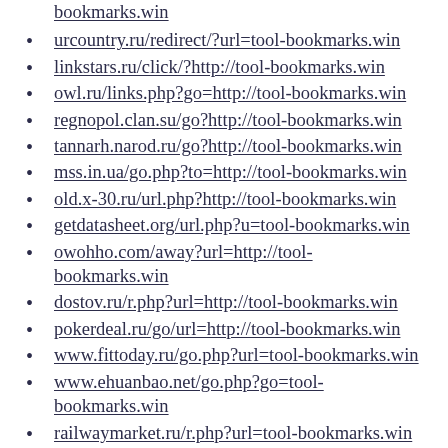bookmarks.win (partial, top of page)
urcountry.ru/redirect/?url=tool-bookmarks.win
linkstars.ru/click/?http://tool-bookmarks.win
owl.ru/links.php?go=http://tool-bookmarks.win
regnopol.clan.su/go?http://tool-bookmarks.win
tannarh.narod.ru/go?http://tool-bookmarks.win
mss.in.ua/go.php?to=http://tool-bookmarks.win
old.x-30.ru/url.php?http://tool-bookmarks.win
getdatasheet.org/url.php?u=tool-bookmarks.win
owohho.com/away?url=http://tool-bookmarks.win
dostov.ru/r.php?url=http://tool-bookmarks.win
pokerdeal.ru/go/url=http://tool-bookmarks.win
www.fittoday.ru/go.php?url=tool-bookmarks.win
www.ehuanbao.net/go.php?go=tool-bookmarks.win
railwaymarket.ru/r.php?url=tool-bookmarks.win
vishivalochka.ru/go?http://tool-bookmarks.win
catalog.dir.bg/url.php?URL=tool-bookmarks.win